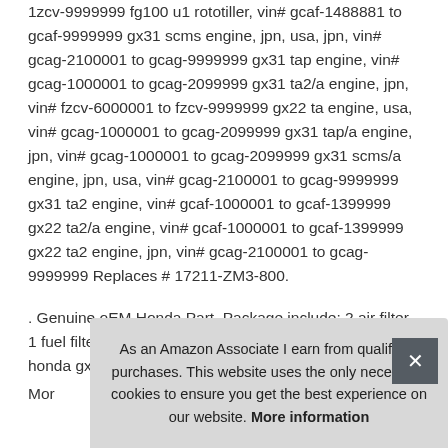1zcv-9999999 fg100 u1 rototiller, vin# gcaf-1488881 to gcaf-9999999 gx31 scms engine, jpn, usa, jpn, vin# gcag-2100001 to gcag-9999999 gx31 tap engine, vin# gcag-1000001 to gcag-2099999 gx31 ta2/a engine, jpn, vin# fzcv-6000001 to fzcv-9999999 gx22 ta engine, usa, vin# gcag-1000001 to gcag-2099999 gx31 tap/a engine, jpn, vin# gcag-1000001 to gcag-2099999 gx31 scms/a engine, jpn, usa, vin# gcag-2100001 to gcag-9999999 gx31 ta2 engine, vin# gcaf-1000001 to gcaf-1399999 gx22 ta2/a engine, vin# gcaf-1000001 to gcaf-1399999 gx22 ta2 engine, jpn, vin# gcag-2100001 to gcag-9999999 Replaces # 17211-ZM3-800.
. Genuine oEM Honda Part. Package include: 2 air filter, 1 fuel filter. Fit for honda fg100 tiller cultivator. Fit for honda gx22 GX3 Mor
As an Amazon Associate I earn from qualifying purchases. This website uses the only necessary cookies to ensure you get the best experience on our website. More information